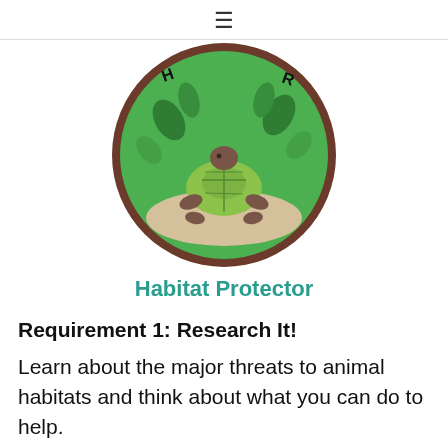≡
[Figure (illustration): A circular embroidered patch showing a turtle on a sandy ground with green leaves and foliage background. Partial text 'H' and 'R' visible on the border of the patch. Brown border around a green circular badge.]
Habitat Protector
Requirement 1: Research It!
Learn about the major threats to animal habitats and think about what you can do to help.